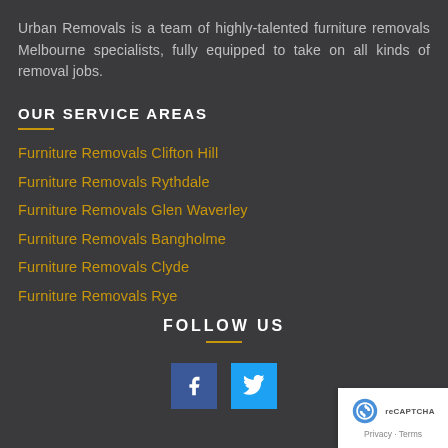Urban Removals is a team of highly-talented furniture removals Melbourne specialists, fully equipped to take on all kinds of removal jobs.
OUR SERVICE AREAS
Furniture Removals Clifton Hill
Furniture Removals Rythdale
Furniture Removals Glen Waverley
Furniture Removals Bangholme
Furniture Removals Clyde
Furniture Removals Rye
FOLLOW US
[Figure (logo): reCAPTCHA badge with Privacy and Terms links]